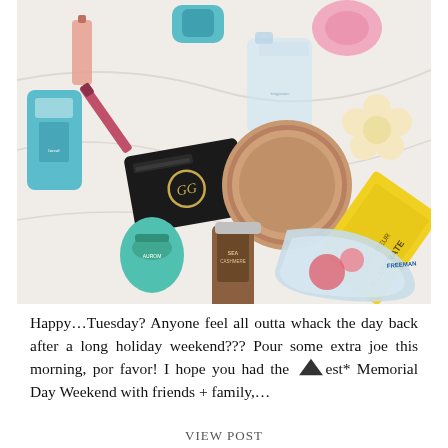[Figure (photo): Flat lay photo of various beauty and personal care products on a white surface, including a Gucci card holder, bronzer compact, face mask, serums, haircare products, and skincare items in teal, pink, and yellow packaging.]
Happy…Tuesday? Anyone feel all outta whack the day back after a long holiday weekend??? Pour some extra joe this morning, por favor! I hope you had the *best* Memorial Day Weekend with friends + family,…
VIEW POST